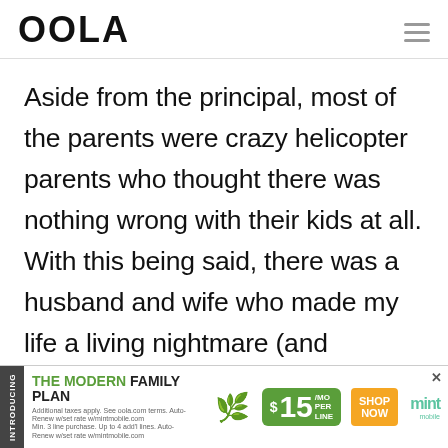OOLA
Aside from the principal, most of the parents were crazy helicopter parents who thought there was nothing wrong with their kids at all. With this being said, there was a husband and wife who made my life a living nightmare (and probably
[Figure (infographic): Advertisement banner for Mint Mobile Modern Family Plan. Shows '$15/mo per line' pricing with green background, orange 'SHOP NOW' button, and Mint Mobile logo. Includes 'INTRODUCING' vertical side label.]